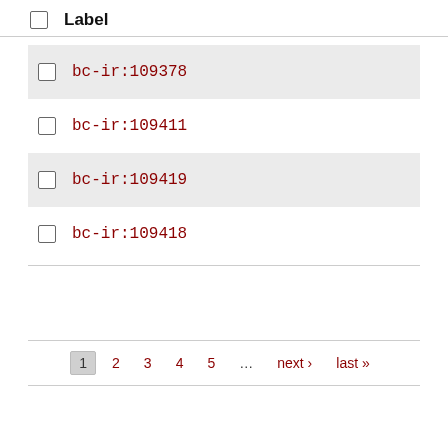Label
bc-ir:109378
bc-ir:109411
bc-ir:109419
bc-ir:109418
1  2  3  4  5  ...  next ›  last »